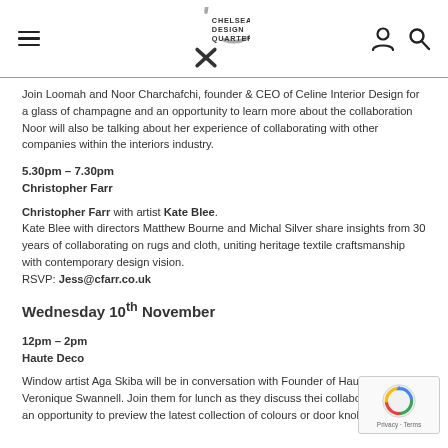Chelsea Design Quarter — navigation header with logo, hamburger menu, user icon, and search icon
Join Loomah and Noor Charchafchi, founder & CEO of Celine Interior Design for a glass of champagne and an opportunity to learn more about the collaboration Noor will also be talking about her experience of collaborating with other companies within the interiors industry.
5.30pm – 7.30pm
Christopher Farr
Christopher Farr with artist Kate Blee.
Kate Blee with directors Matthew Bourne and Michal Silver share insights from 30 years of collaborating on rugs and cloth, uniting heritage textile craftsmanship with contemporary design vision.
RSVP: Jess@cfarr.co.uk
Wednesday 10th November
12pm – 2pm
Haute Deco
Window artist Aga Skiba will be in conversation with Founder of Hau... Marie-Veronique Swannell. Join them for lunch as they discuss thei... collaboration with an opportunity to preview the latest collection of colours or door knobs.